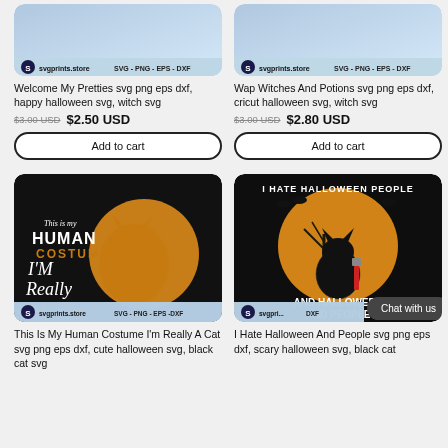[Figure (screenshot): Product image top-left: Halloween SVG design card with svgprints.store badge, SVG - PNG - EPS - DXF]
[Figure (screenshot): Product image top-right: Halloween SVG design card with svgprints.store badge, SVG - PNG - EPS - DXF]
Welcome My Pretties svg png eps dxf, happy halloween svg, witch svg
Wap Witches And Potions svg png eps dxf, cricut halloween svg, witch svg
$3.00 USD  $2.50 USD
$3.00 USD  $2.80 USD
Add to cart
Add to cart
[Figure (illustration): This Is My Human Costume I'm Really A Cat: dark background with orange cat and text design, svgprints.store badge, SVG - PNG - EPS - DXF]
[Figure (illustration): I Hate Halloween People And Halloween And People: dark background with black cat and moon design, svgprints.store badge, DXF]
This Is My Human Costume I'm Really A Cat svg png eps dxf, cute halloween svg, black cat svg
I Hate Halloween And People svg png eps dxf, scary halloween svg, black cat
Chat with us